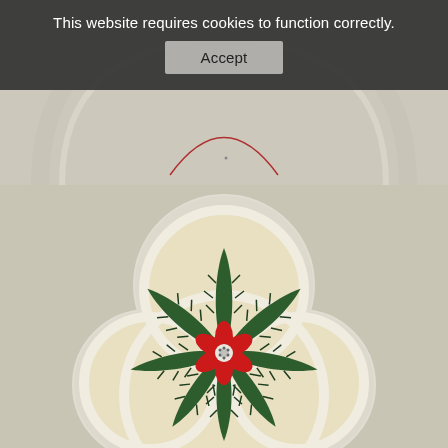[Figure (illustration): Top portion of an illustrated manuscript or artwork showing concentric arched outlines with a faint red curved line, on a light grayish-beige background.]
[Figure (illustration): Botanical illustration showing a stylized plant with large dark green serrated leaves radiating from a central stem, with a red six-petaled flower at the center, set within a trefoil/quatrefoil arch design on a cream/beige background with a light gray border.]
This website requires cookies to function correctly.
Accept